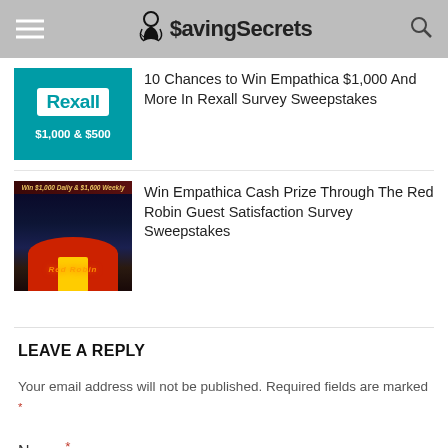SavingSecrets
[Figure (screenshot): Rexall teal thumbnail showing $1,000 & $500 prize amounts]
10 Chances to Win Empathica $1,000 And More In Rexall Survey Sweepstakes
[Figure (photo): Red Robin restaurant exterior at night with Win $1,000 Daily & $1,600 Weekly banner]
Win Empathica Cash Prize Through The Red Robin Guest Satisfaction Survey Sweepstakes
LEAVE A REPLY
Your email address will not be published. Required fields are marked *
Name *